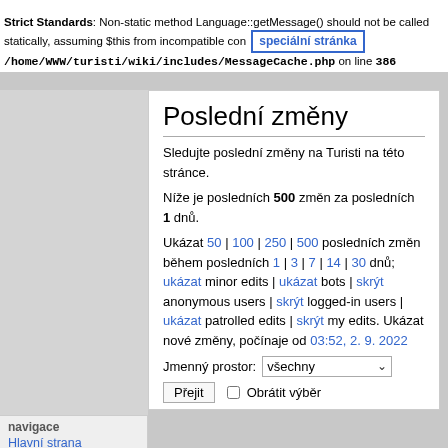Přihlaste se
Strict Standards: Non-static method Language::getMessage() should not be called statically, assuming $this from incompatible con [speciální stránka] /home/WWW/turisti/wiki/includes/MessageCache.php on line 386
Poslední změny
Sledujte poslední změny na Turisti na této stránce.
Níže je posledních 500 změn za posledních 1 dnů.
Ukázat 50 | 100 | 250 | 500 posledních změn během posledních 1 | 3 | 7 | 14 | 30 dnů; ukázat minor edits | ukázat bots | skrýt anonymous users | skrýt logged-in users | ukázat patrolled edits | skrýt my edits. Ukázat nové změny, počínaje od 03:52, 2. 9. 2022
Jmenný prostor: všechny
Přejit  Obrátit výběr
navigace
Hlavní strana